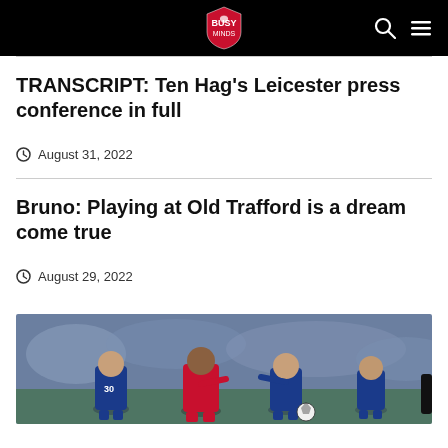Navigation bar with Manchester United Matters logo, search and menu icons
TRANSCRIPT: Ten Hag's Leicester press conference in full
August 31, 2022
Bruno: Playing at Old Trafford is a dream come true
August 29, 2022
[Figure (photo): Football match action photo showing players in red (Manchester United) and blue (Leicester City) jerseys competing on the pitch, with a ball visible and blurred crowd in background]